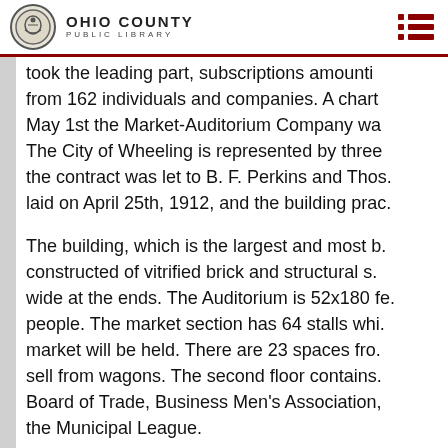OHIO COUNTY PUBLIC LIBRARY
cost of $160,000. The ordinance was passed... After a few weeks' work in which Mr. Lut, took the leading part, subscriptions amounting from 162 individuals and companies. A chart May 1st the Market-Auditorium Company wa. The City of Wheeling is represented by three the contract was let to B. F. Perkins and Thos. laid on April 25th, 1912, and the building prac.
The building, which is the largest and most b. constructed of vitrified brick and structural s. wide at the ends. The Auditorium is 52x180 fe. people. The market section has 64 stalls whi. market will be held. There are 23 spaces fro. sell from wagons. The second floor contains. Board of Trade, Business Men's Association, the Municipal League.
An ordinance to raze the auditorium was pass. 1964.